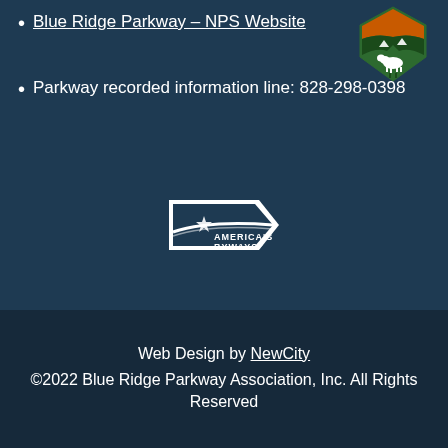Blue Ridge Parkway – NPS Website
Parkway recorded information line: 828-298-0398
[Figure (logo): NPS National Park Service arrowhead logo with bison and mountains]
[Figure (logo): America's Byways logo — white flag with star and text]
Web Design by NewCity
©2022 Blue Ridge Parkway Association, Inc. All Rights Reserved